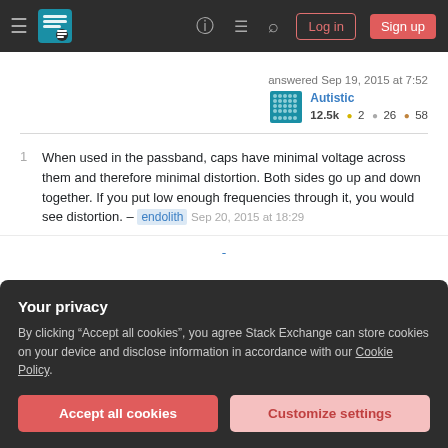Stack Exchange navigation bar with Log in and Sign up buttons
answered Sep 19, 2015 at 7:52
Autistic  12.5k  2  26  58
1 When used in the passband, caps have minimal voltage across them and therefore minimal distortion. Both sides go up and down together. If you put low enough frequencies through it, you would see distortion. – endolith Sep 20, 2015 at 18:29
Your privacy
By clicking "Accept all cookies", you agree Stack Exchange can store cookies on your device and disclose information in accordance with our Cookie Policy.
Accept all cookies
Customize settings